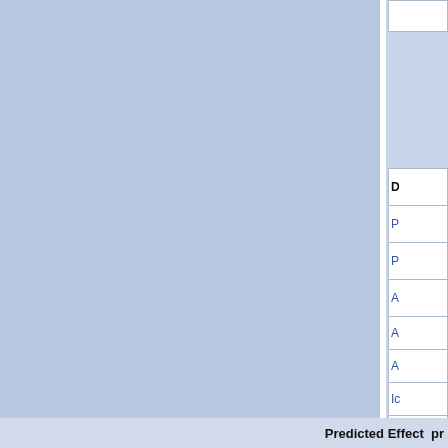| D | P | P | A | A | A | Ic | P | P | P | P |
| --- | --- | --- | --- | --- | --- | --- | --- | --- | --- | --- |
Predicted Effect  pro